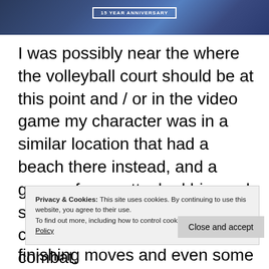[Figure (photo): Top portion of a webpage showing a dark blue background with a '15 YEAR ANNIVERSARY' badge/banner text in white]
I was possibly near the where the volleyball court should be at this point and / or in the video game my character was in a similar location that had a beach there instead, and a group of men attacked him and so I had to fight them using my character in hand-to-hand combat.
Privacy & Cookies: This site uses cookies. By continuing to use this website, you agree to their use.
To find out more, including how to control cookies, see here: Cookie Policy
Close and accept
finishing moves and even some environmental